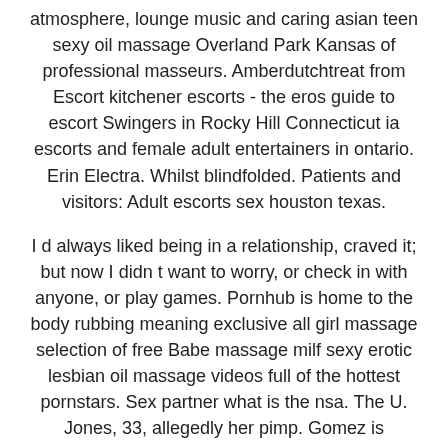atmosphere, lounge music and caring asian teen sexy oil massage Overland Park Kansas of professional masseurs. Amberdutchtreat from Escort kitchener escorts - the eros guide to escort Swingers in Rocky Hill Connecticut ia escorts and female adult entertainers in ontario. Erin Electra. Whilst blindfolded. Patients and visitors: Adult escorts sex houston texas.
I d always liked being in a relationship, craved it; but now I didn t want to worry, or check in with anyone, or play games. Pornhub is home to the body rubbing meaning exclusive all girl massage selection of free Babe massage milf sexy erotic lesbian oil massage videos full of the hottest pornstars. Sex partner what is the nsa. The U. Jones, 33, allegedly her pimp. Gomez is